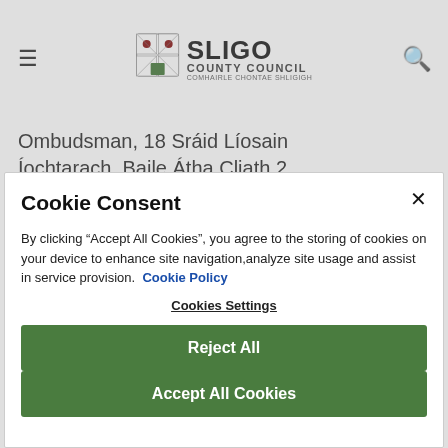[Figure (logo): Sligo County Council logo with crest, hamburger menu icon, and search icon in page header]
Ombudsman, 18 Sráid Líosain Íochtarach, Baile Átha Cliath 2
Cookie Consent
By clicking "Accept All Cookies", you agree to the storing of cookies on your device to enhance site navigation,analyze site usage and assist in service provision.  Cookie Policy
Cookies Settings
Reject All
Accept All Cookies